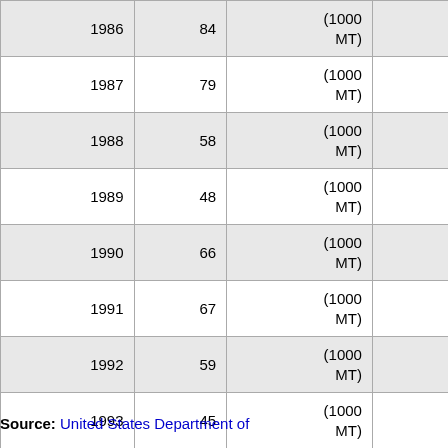| Year | Value | Unit | Change |
| --- | --- | --- | --- |
| 1986 | 84 | (1000 MT) | 104.88% |
| 1987 | 79 | (1000 MT) | -5.95% |
| 1988 | 58 | (1000 MT) | -26.58% |
| 1989 | 48 | (1000 MT) | -17.24% |
| 1990 | 66 | (1000 MT) | 37.50% |
| 1991 | 67 | (1000 MT) | 1.52% |
| 1992 | 59 | (1000 MT) | -11.94% |
| 1993 | 45 | (1000 MT) | -23.73% |
| 1994 | 45 | (1000 MT) | 0.00% |
| 1995 | 45 | (1000 MT) | 0.00% |
| 1996 | 43 | (1000 MT) | -4.44% |
Source: United States Department of